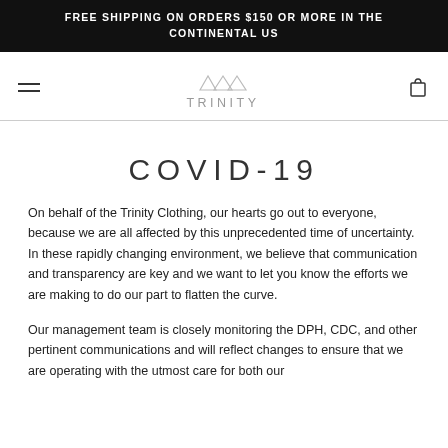FREE SHIPPING ON ORDERS $150 OR MORE IN THE CONTINENTAL US
[Figure (logo): Trinity clothing brand logo with three triangles above the word TRINITY]
COVID-19
On behalf of the Trinity Clothing, our hearts go out to everyone, because we are all affected by this unprecedented time of uncertainty.  In these rapidly changing environment, we believe that communication and transparency are key and we want to let you know the efforts we are making to do our part to flatten the curve.
Our management team is closely monitoring the DPH, CDC, and other pertinent communications and will reflect changes to ensure that we are operating with the utmost care for both our